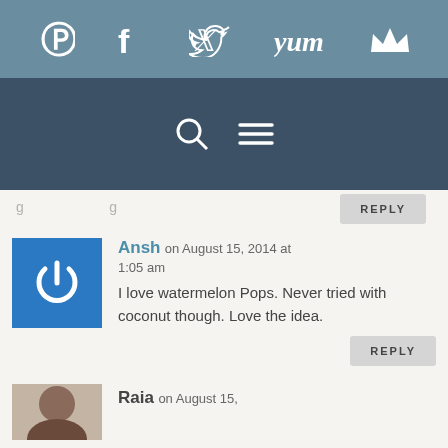Social share bar with Pinterest, Facebook, Twitter, Yum, Crown icons
Navigation bar with search and menu icons
g ... g (partial text, cut off)
REPLY
Ansh on August 15, 2014 at 1:05 am
I love watermelon Pops. Never tried with coconut though. Love the idea.
REPLY
Raia on August 15,